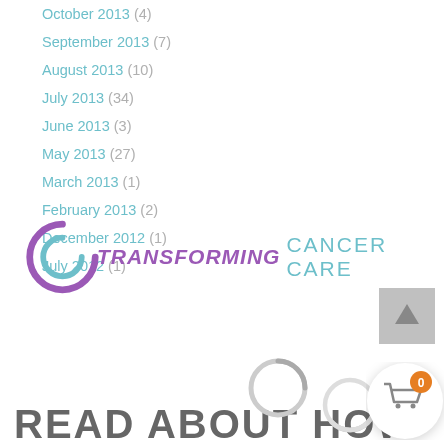October 2013 (4)
September 2013 (7)
August 2013 (10)
July 2013 (34)
June 2013 (3)
May 2013 (27)
March 2013 (1)
February 2013 (2)
December 2012 (1)
July 2012 (1)
[Figure (logo): Transforming Cancer Care logo with stylized C in purple/teal and bold italic purple TRANSFORMING text followed by teal CANCER CARE text]
[Figure (other): Loading spinner circle, grey]
[Figure (other): Scroll to top button, grey square with up arrow]
[Figure (other): Shopping cart button circle with orange badge showing 0]
READ ABOUT HOW